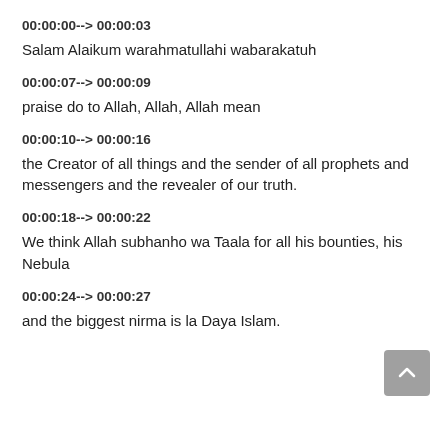00:00:00--> 00:00:03
Salam Alaikum warahmatullahi wabarakatuh
00:00:07--> 00:00:09
praise do to Allah, Allah, Allah mean
00:00:10--> 00:00:16
the Creator of all things and the sender of all prophets and messengers and the revealer of our truth.
00:00:18--> 00:00:22
We think Allah subhanho wa Taala for all his bounties, his Nebula
00:00:24--> 00:00:27
and the biggest nirma is la Daya Islam.